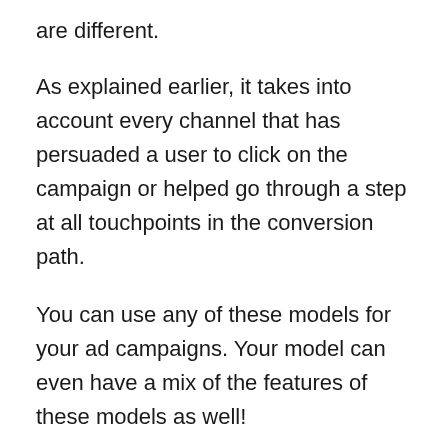are different.
As explained earlier, it takes into account every channel that has persuaded a user to click on the campaign or helped go through a step at all touchpoints in the conversion path.
You can use any of these models for your ad campaigns. Your model can even have a mix of the features of these models as well!